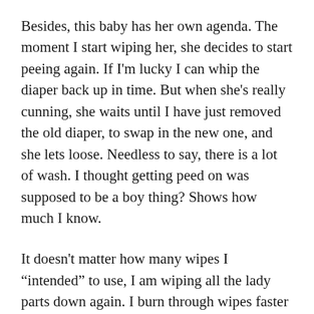Besides, this baby has her own agenda.  The moment I start wiping her, she decides to start peeing again.  If I'm lucky I can whip the diaper back up in time.  But when she's really cunning, she waits until I have just removed the old diaper, to swap in the new one, and she lets loose.  Needless to say, there is a lot of wash.  I thought getting peed on was supposed to be a boy thing?  Shows how much I know.
It doesn't matter how many wipes I “intended” to use, I am wiping all the lady parts down again.  I burn through wipes faster than I can count.  And it’s ok, because #2ndtimemom here.  Who the heck cares?!